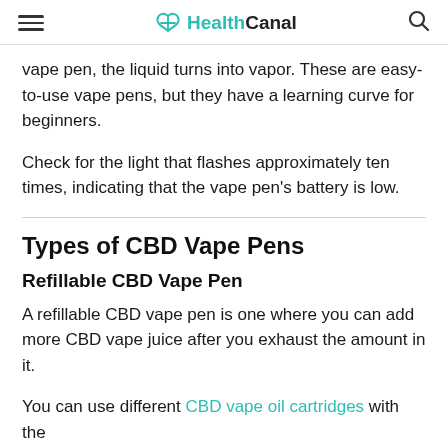HealthCanal
vape pen, the liquid turns into vapor. These are easy-to-use vape pens, but they have a learning curve for beginners.
Check for the light that flashes approximately ten times, indicating that the vape pen's battery is low.
Types of CBD Vape Pens
Refillable CBD Vape Pen
A refillable CBD vape pen is one where you can add more CBD vape juice after you exhaust the amount in it.
You can use different CBD vape oil cartridges with the